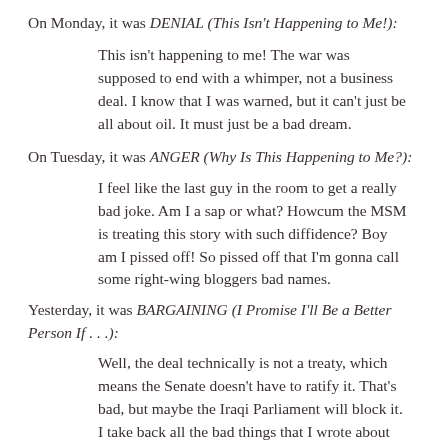On Monday, it was DENIAL (This Isn't Happening to Me!):
This isn't happening to me! The war was supposed to end with a whimper, not a business deal. I know that I was warned, but it can't just be all about oil. It must just be a bad dream.
On Tuesday, it was ANGER (Why Is This Happening to Me?):
I feel like the last guy in the room to get a really bad joke. Am I a sap or what? Howcum the MSM is treating this story with such diffidence? Boy am I pissed off! So pissed off that I'm gonna call some right-wing bloggers bad names.
Yesterday, it was BARGAINING (I Promise I'll Be a Better Person If . . .):
Well, the deal technically is not a treaty, which means the Senate doesn't have to ratify it. That's bad, but maybe the Iraqi Parliament will block it. I take back all the bad things that I wrote about you guys. Honest.